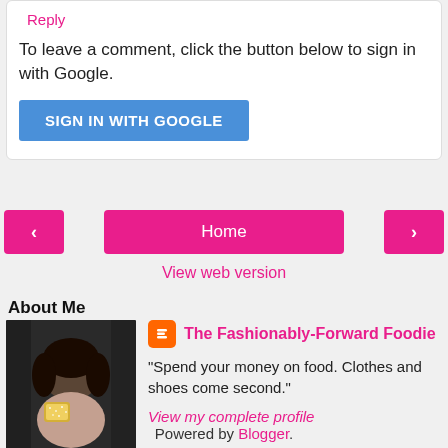Reply
To leave a comment, click the button below to sign in with Google.
SIGN IN WITH GOOGLE
< Home >
View web version
About Me
[Figure (photo): Profile photo of a woman with sunglasses holding a sparkly clutch]
The Fashionably-Forward Foodie
"Spend your money on food. Clothes and shoes come second."
View my complete profile
Powered by Blogger.